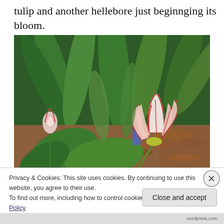tulip and another hellebore just beginnging its bloom.
[Figure (photo): A garden scene showing red and white tulip flowers with large green leaves growing among leaf litter and bark mulch. A prominent tulip bloom is in the center-foreground with red-edged white petals, and a smaller tulip is visible in the upper left.]
Privacy & Cookies: This site uses cookies. By continuing to use this website, you agree to their use.
To find out more, including how to control cookies, see here: Cookie Policy
wordpress.com